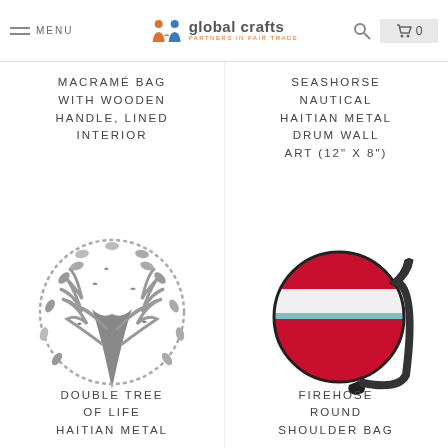MENU | global crafts PARTNERS IN FAIR TRADE | 0
MACRAMÉ BAG WITH WOODEN HANDLE, LINED INTERIOR
SEASHORSE NAUTICAL HAITIAN METAL DRUM WALL ART (12" X 8")
[Figure (photo): Silver metallic double tree of life Haitian metal drum wall art, circular with intricate cut-out birds and branches design]
[Figure (photo): Round shoulder bag made from firehose material, red with white horizontal stripe and black strap]
DOUBLE TREE OF LIFE HAITIAN METAL
FIREHOSE ROUND SHOULDER BAG